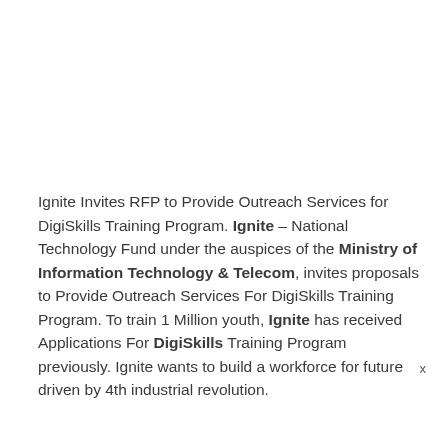Ignite Invites RFP to Provide Outreach Services for DigiSkills Training Program. Ignite – National Technology Fund under the auspices of the Ministry of Information Technology & Telecom, invites proposals to Provide Outreach Services For DigiSkills Training Program. To train 1 Million youth, Ignite has received Applications For DigiSkills Training Program previously. Ignite wants to build a workforce for future driven by 4th industrial revolution.
x